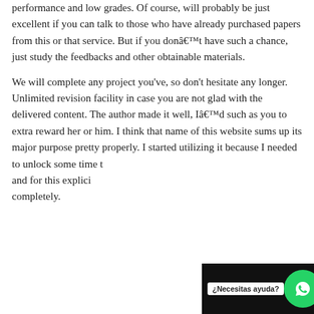performance and low grades. Of course, will probably be just excellent if you can talk to those who have already purchased papers from this or that service. But if you donât have such a chance, just study the feedbacks and other obtainable materials.
We will complete any project you've, so don't hesitate any longer. Unlimited revision facility in case you are not glad with the delivered content. The author made it well, Iâd such as you to extra reward her or him. I think that name of this website sums up its major purpose pretty properly. I started utilizing it because I needed to unlock some time t... ... ... and for this explicit case it labored completely.
[Figure (other): WhatsApp chat widget overlay with green circle icon and '¿Necesitas ayuda?' label]